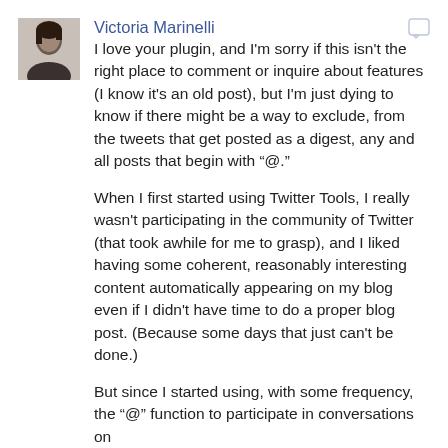Victoria Marinelli
I love your plugin, and I'm sorry if this isn't the right place to comment or inquire about features (I know it's an old post), but I'm just dying to know if there might be a way to exclude, from the tweets that get posted as a digest, any and all posts that begin with “@.”
When I first started using Twitter Tools, I really wasn't participating in the community of Twitter (that took awhile for me to grasp), and I liked having some coherent, reasonably interesting content automatically appearing on my blog even if I didn't have time to do a proper blog post. (Because some days that just can't be done.)
But since I started using, with some frequency, the “@” function to participate in conversations on